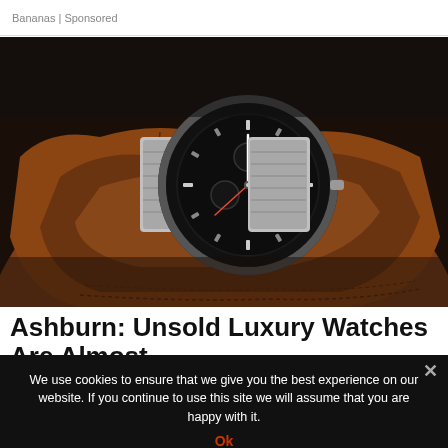Bananas | Sponsored
[Figure (photo): A luxury silver chronograph watch with a black dial resting on brown leather gloves against a dark background.]
Ashburn: Unsold Luxury Watches Are Almost
We use cookies to ensure that we give you the best experience on our website. If you continue to use this site we will assume that you are happy with it.
Ok